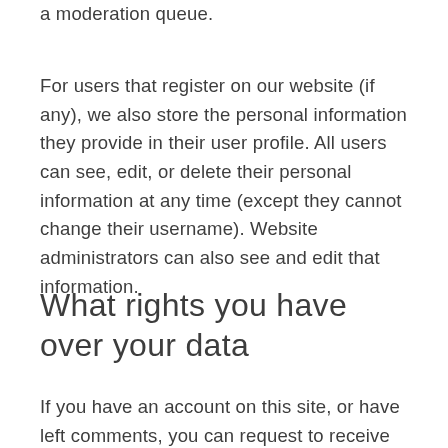a moderation queue.
For users that register on our website (if any), we also store the personal information they provide in their user profile. All users can see, edit, or delete their personal information at any time (except they cannot change their username). Website administrators can also see and edit that information.
What rights you have over your data
If you have an account on this site, or have left comments, you can request to receive an exported